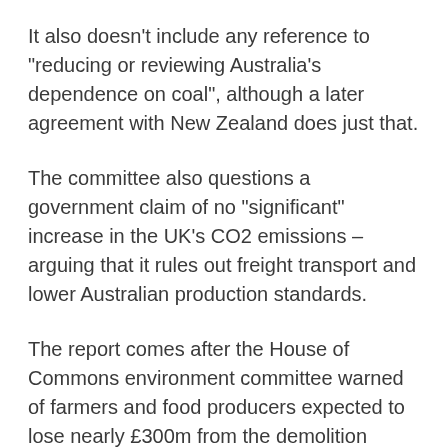It also doesn’t include any reference to “reducing or reviewing Australia’s dependence on coal”, although a later agreement with New Zealand does just that.
The committee also questions a government claim of no “significant” increase in the UK’s CO2 emissions – arguing that it rules out freight transport and lower Australian production standards.
The report comes after the House of Commons environment committee warned of farmers and food producers expected to lose nearly £300m from the demolition tariffs.
The Lords’ committee suggests that “speed of